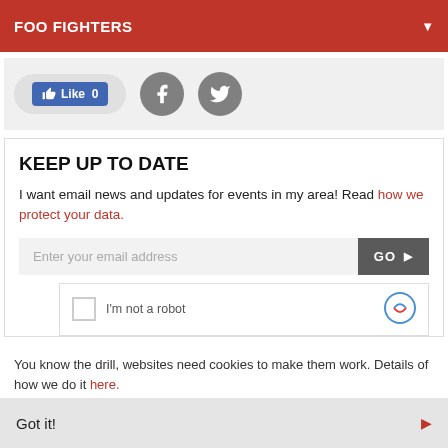FOO FIGHTERS
[Figure (screenshot): Social media buttons: Facebook Like button showing count 0, Facebook circle icon, Twitter circle icon on grey background]
KEEP UP TO DATE
I want email news and updates for events in my area! Read how we protect your data.
[Figure (screenshot): Email input field with placeholder 'Enter your email address' and a dark grey GO button with arrow, plus a reCAPTCHA widget showing 'I'm not a robot']
You know the drill, websites need cookies to make them work. Details of how we do it here.
Got it!